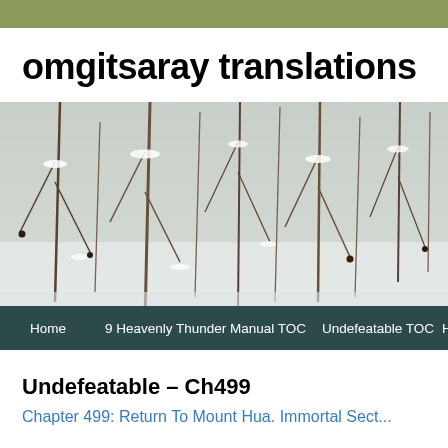omgitsaray translations
[Figure (photo): Winter scene photograph showing bare branches and twigs covered in snow, with a blurred snowy forest background. Navigation bar overlaid at bottom with links: Home, 9 Heavenly Thunder Manual TOC, Undefeatable TOC, H...]
Undefeatable – Ch499
Chapter 499: Return To Mount Hua. Immortal Sect...